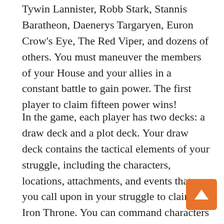Tywin Lannister, Robb Stark, Stannis Baratheon, Daenerys Targaryen, Euron Crow's Eye, The Red Viper, and dozens of others. You must maneuver the members of your House and your allies in a constant battle to gain power. The first player to claim fifteen power wins!
In the game, each player has two decks: a draw deck and a plot deck. Your draw deck contains the tactical elements of your struggle, including the characters, locations, attachments, and events that you call upon in your struggle to claim the Iron Throne. You can command characters from throughout A Song of Ice and Fire, and you can march forth from the icy walls of Winterfell or muster your armies around Casterly Rock. You may even equip your characters with storied weapons, such as the Valyrian steel blades Ice or Widow's Wail. The draw deck holds these powerful characters, locations, attachments, and events. This